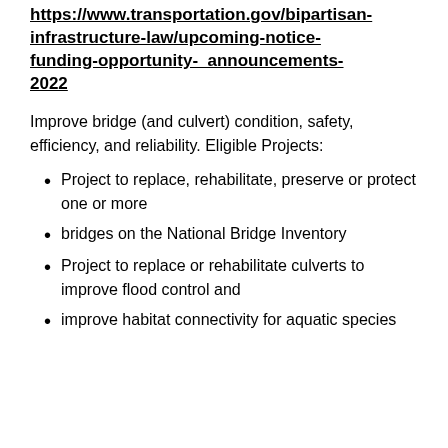https://www.transportation.gov/bipartisan-infrastructure-law/upcoming-notice-funding-opportunity- announcements-2022
Improve bridge (and culvert) condition, safety, efficiency, and reliability. Eligible Projects:
Project to replace, rehabilitate, preserve or protect one or more
bridges on the National Bridge Inventory
Project to replace or rehabilitate culverts to improve flood control and
improve habitat connectivity for aquatic species